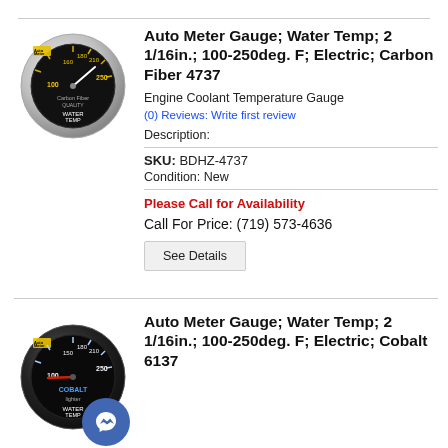[Figure (photo): Auto Meter Carbon Fiber water temperature gauge, circular black face with yellow markings 100-250, silver bezel]
Auto Meter Gauge; Water Temp; 2 1/16in.; 100-250deg. F; Electric; Carbon Fiber 4737
Engine Coolant Temperature Gauge
(0) Reviews: Write first review
Description:
SKU: BDHZ-4737
Condition: New
Please Call for Availability
Call For Price: (719) 573-4636
[Figure (photo): Auto Meter Cobalt water temperature gauge, circular black face with blue/white markings 100-250, black bezel]
Auto Meter Gauge; Water Temp; 2 1/16in.; 100-250deg. F; Electric; Cobalt 6137